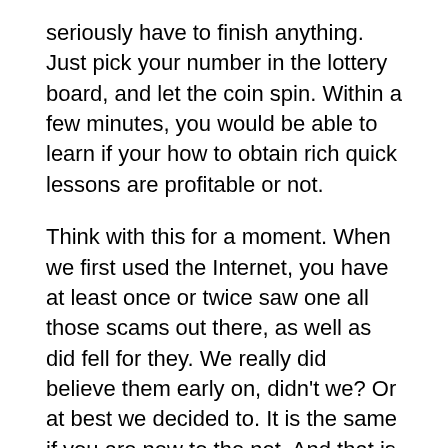seriously have to finish anything. Just pick your number in the lottery board, and let the coin spin. Within a few minutes, you would be able to learn if your how to obtain rich quick lessons are profitable or not.
Think with this for a moment. When we first used the Internet, you have at least once or twice saw one all those scams out there, as well as did fell for they. We really did believe them early on, didn't we? Or at best we decided to. It is the same if you are new to the net. And that is you own them target for all those scammers. May use it is important to share our experience with everyone are generally new to the net.
This software works to be a lotto number